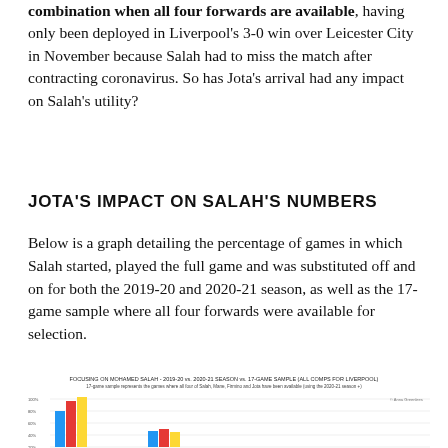combination when all four forwards are available, having only been deployed in Liverpool's 3-0 win over Leicester City in November because Salah had to miss the match after contracting coronavirus. So has Jota's arrival had any impact on Salah's utility?
JOTA'S IMPACT ON SALAH'S NUMBERS
Below is a graph detailing the percentage of games in which Salah started, played the full game and was substituted off and on for both the 2019-20 and 2020-21 season, as well as the 17-game sample where all four forwards were available for selection.
[Figure (grouped-bar-chart): Grouped bar chart showing percentage of games in which Salah started, played full game, substituted off and on for 2019-20, 2020-21, and 17-game sample seasons. Bars are blue, red, and yellow/gold. Chart is partially cropped at bottom of page.]